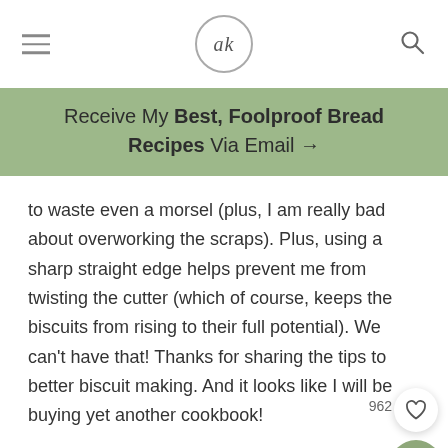ak
Receive My Best, Foolproof Bread Recipes Via Email →
to waste even a morsel (plus, I am really bad about overworking the scraps). Plus, using a sharp straight edge helps prevent me from twisting the cutter (which of course, keeps the biscuits from rising to their full potential). We can't have that! Thanks for sharing the tips to better biscuit making. And it looks like I will be buying yet another cookbook!
ALEXANDRA – OCTOBER 8, 2014 @ 10:24 AM
REPLY